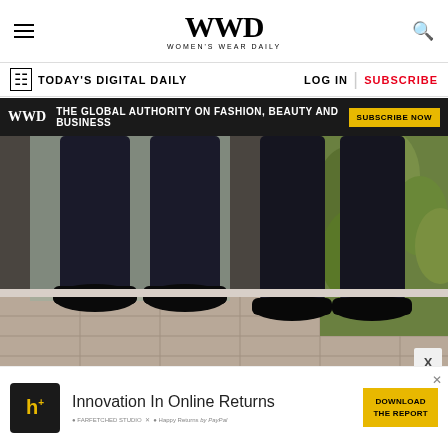WWD - Women's Wear Daily
TODAY'S DIGITAL DAILY | LOG IN | SUBSCRIBE
WWD THE GLOBAL AUTHORITY ON FASHION, BEAUTY AND BUSINESS SUBSCRIBE NOW
[Figure (photo): Two people standing side by side wearing dark dress pants and black dress shoes on an outdoor tiled surface with glass balustrade and greenery in background]
Innovation In Online Returns DOWNLOAD THE REPORT